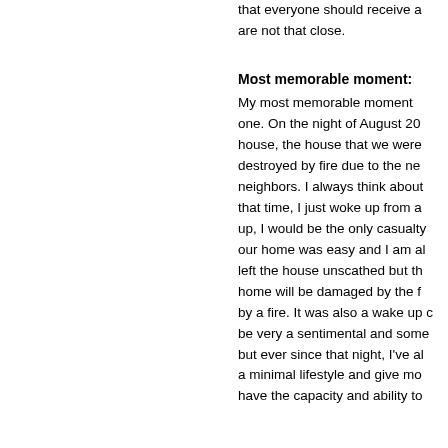that everyone should receive a are not that close.
Most memorable moment:
My most memorable moment one. On the night of August 20 house, the house that we were destroyed by fire due to the ne neighbors. I always think about that time, I just woke up from a up, I would be the only casualty our home was easy and I am al left the house unscathed but th home will be damaged by the f by a fire. It was also a wake up c be very a sentimental and some but ever since that night, I've al a minimal lifestyle and give mo have the capacity and ability to